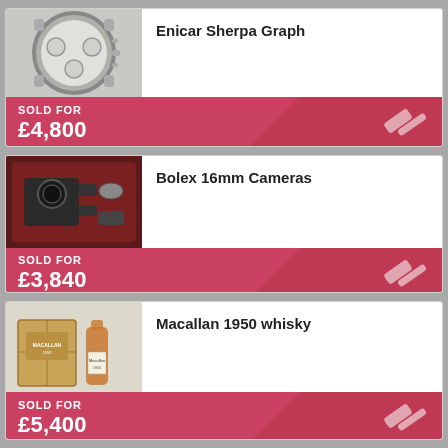[Figure (photo): Enicar Sherpa Graph chronograph wristwatch, silver dial with subdials]
Enicar Sherpa Graph
SOLD FOR £4,800
[Figure (photo): Bolex 16mm cameras in a dark red case with accessories]
Bolex 16mm Cameras
SOLD FOR £3,840
[Figure (photo): Macallan 1950 whisky bottle with wooden crate]
Macallan 1950 whisky
SOLD FOR £5,400